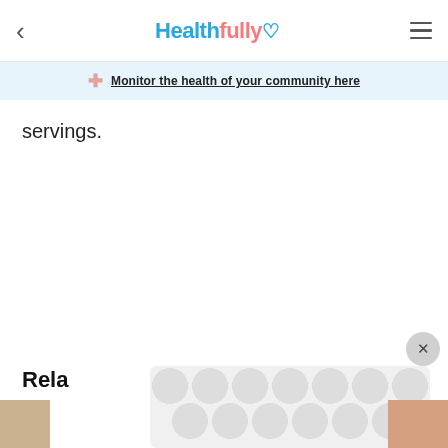Healthfully — Monitor the health of your community here
servings.
Rela